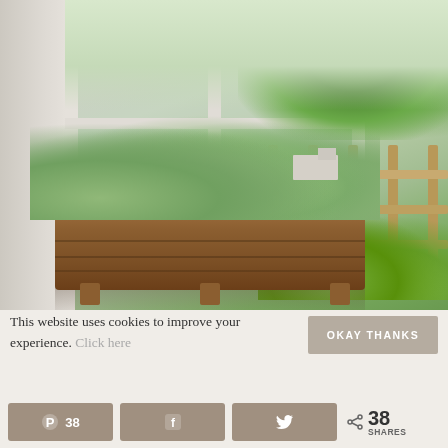[Figure (photo): Farmhouse exterior photo showing a white-framed window with a rustic wooden planter box filled with lush green plants and herbs. To the right is a wooden split-rail fence and green hostas/plants in a garden bed. Background shows trees and open countryside under a clear sky.]
This website uses cookies to improve your experience. Click here
OKAY THANKS
38
38 SHARES